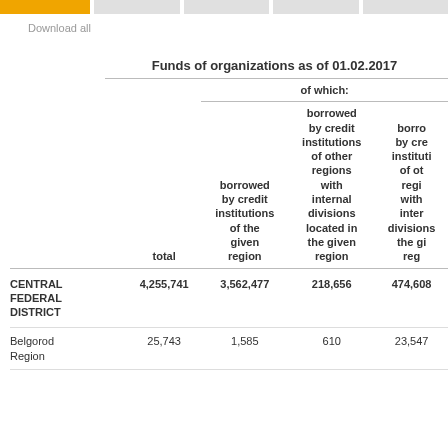Download all
|  | total | borrowed by credit institutions of the given region | borrowed by credit institutions of other regions with internal divisions located in the given region | borrowed by credit institutions of other regions with internal divisions the given reg |
| --- | --- | --- | --- | --- |
| CENTRAL FEDERAL DISTRICT | 4,255,741 | 3,562,477 | 218,656 | 474,608 |
| Belgorod Region | 25,743 | 1,585 | 610 | 23,547 |